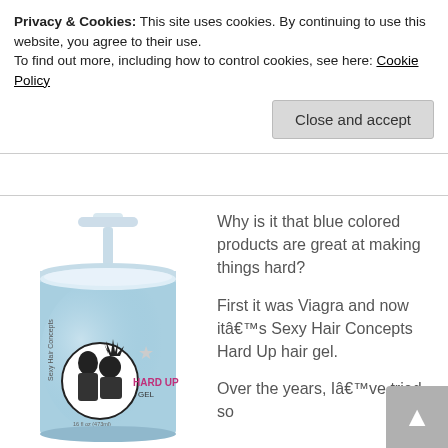Privacy & Cookies: This site uses cookies. By continuing to use this website, you agree to their use.
To find out more, including how to control cookies, see here: Cookie Policy
Close and accept
[Figure (photo): Blue pump bottle/jar of Sexy Hair Concepts Hard Up hair gel with two people on the label]
Why is it that blue colored products are great at making things hard?

First it was Viagra and now itâ€™s Sexy Hair Concepts Hard Up hair gel.

Over the years, Iâ€™ve tried so